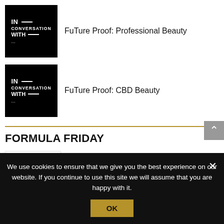FuTure Proof: Professional Beauty
FuTure Proof: CBD Beauty
FORMULA FRIDAY
Univar Solutions: Frill Seeker Cryo Gel Cream
Univar Solutions: Forever Impressions Just
We use cookies to ensure that we give you the best experience on our website. If you continue to use this site we will assume that you are happy with it.